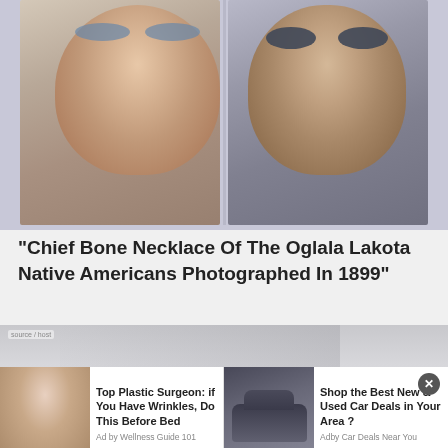[Figure (photo): Two side-by-side historical portraits: left shows a young man with fair hair wearing a patterned tie and dark suit; right shows an older man with dark hair and deep-set eyes wearing a dark suit, photographed in 1899.]
"Chief Bone Necklace Of The Oglala Lakota Native Americans Photographed In 1899"
[Figure (screenshot): Advertisement bar with two ad units: 'Top Plastic Surgeon: if You Have Wrinkles, Do This Before Bed' by Wellness Guide 101, and 'Shop the Best New & Used Car Deals in Your Area ?' by Car Deals Near You. A close button (X) is visible.]